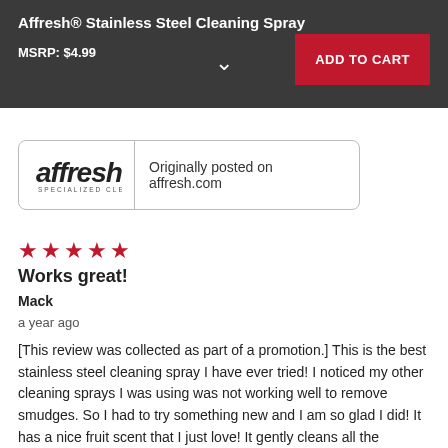Affresh® Stainless Steel Cleaning Spray
MSRP: $4.99
[Figure (logo): affresh Specialized Cleaners logo]
Originally posted on affresh.com
★★★★★
Works great!
Mack
a year ago
[This review was collected as part of a promotion.] This is the best stainless steel cleaning spray I have ever tried! I noticed my other cleaning sprays I was using was not working well to remove smudges. So I had to try something new and I am so glad I did! It has a nice fruit scent that I just love! It gently cleans all the fingerprints and sr completely each time I've used it. I will definitely be purchasin brand from now on! It doesn't leave any streaks or residue just a nice clean shiny refrigerator! I can even see my reflection it shines so nice!